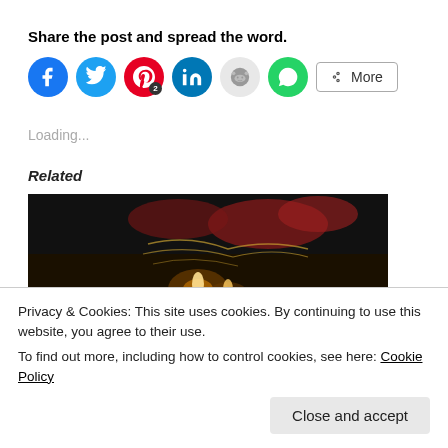Share the post and spread the word.
[Figure (infographic): Social media share buttons: Facebook (blue circle), Twitter (light blue circle), Pinterest (red circle with badge '2'), LinkedIn (dark blue circle), Reddit (light gray circle), WhatsApp (green circle), and a 'More' button with share icon]
Loading...
Related
[Figure (photo): Dark background photo showing what appears to be a crab or seafood dish with candles and reddish garnish]
Privacy & Cookies: This site uses cookies. By continuing to use this website, you agree to their use.
To find out more, including how to control cookies, see here: Cookie Policy
Close and accept